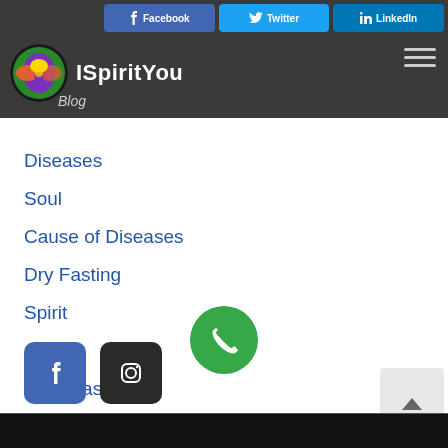ISpirit You - Blog
Diseases
Soul
Cause of Diseases
Dry Fasting
Spirit
Astral
Thai Massage
[Figure (logo): Facebook icon button - blue square with white F]
[Figure (logo): Instagram icon button - dark square with white camera outline]
[Figure (logo): Green circular phone/call button with white handset icon]